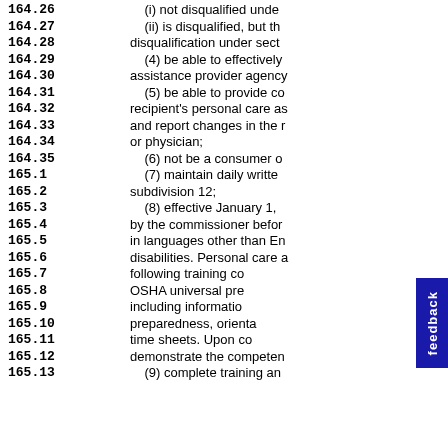164.26
164.27
164.28
164.29
164.30
164.31
164.32
164.33
164.34
164.35
165.1
165.2
165.3
165.4
165.5
165.6
165.7
165.8
165.9
165.10
165.11
165.12
165.13
(i) not disqualified unde
(ii) is disqualified, but t
disqualification under sect
(4) be able to effectively
assistance provider agency
(5) be able to provide co
recipient's personal care as
and report changes in the r
or physician;
(6) not be a consumer o
(7) maintain daily writte
subdivision 12;
(8) effective January 1,
by the commissioner befor
in languages other than En
disabilities. Personal care a
following training co
OSHA universal pre
including informatio
preparedness, orienta
time sheets. Upon co
demonstrate the competen
(9) complete training an